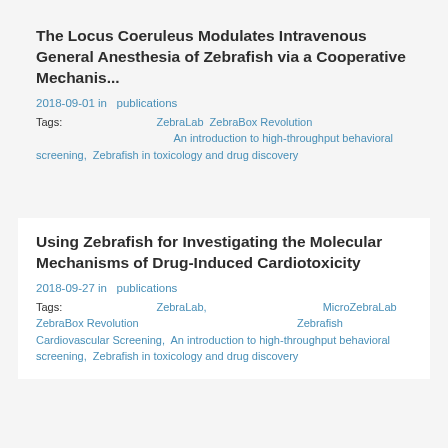The Locus Coeruleus Modulates Intravenous General Anesthesia of Zebrafish via a Cooperative Mechanis...
2018-09-01 in  publications
Tags: 〓〓〓〓〓〓〓〓 ZebraLab ZebraBox Revolution 〓〓〓〓〓〓〓〓〓〓〓〓  An introduction to high-throughput behavioral screening,  Zebrafish in toxicology and drug discovery
Using Zebrafish for Investigating the Molecular Mechanisms of Drug-Induced Cardiotoxicity
2018-09-27 in  publications
Tags: 〓〓〓〓〓〓〓〓 ZebraLab,  〓〓〓〓〓〓〓〓〓〓MicroZebraLab ZebraBox Revolution 〓〓〓 〓〓〓〓〓〓〓〓〓〓  Zebrafish Cardiovascular Screening,  An introduction to high-throughput behavioral screening,  Zebrafish in toxicology and drug discovery